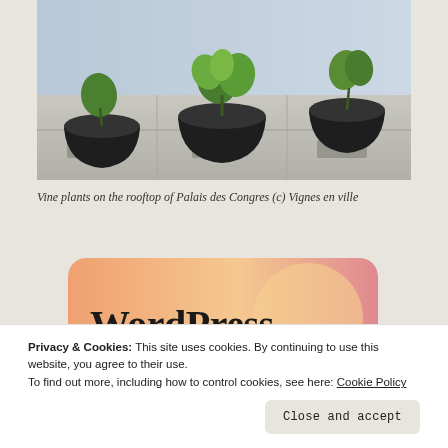[Figure (photo): Vine plants in black fabric pots on the rooftop of Palais des Congres, concrete surface with metal grates visible]
Vine plants on the rooftop of Palais des Congres (c) Vignes en ville
[Figure (illustration): WordPress advertisement banner with gradient peach/pink background and text 'WordPress in the back.']
Privacy & Cookies: This site uses cookies. By continuing to use this website, you agree to their use.
To find out more, including how to control cookies, see here: Cookie Policy